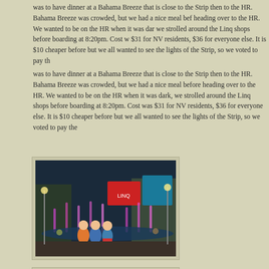was to have dinner at a Bahama Breeze that is close to the Strip then to the HR. Bahama Breeze was crowded, but we had a nice meal before heading over to the HR. We wanted to be on the HR when it was dark, we strolled around the Linq shops before boarding at 8:20pm. Cost w $31 for NV residents, $36 for everyone else. It is $10 cheaper before but we all wanted to see the lights of the Strip, so we voted to pay the
[Figure (photo): Three women sitting together in front of colorful illuminated fountains at the Linq shops area in Las Vegas at night]
[Figure (photo): Outdoor view of the Linq promenade during daytime showing fountains, palm trees, colorful signage, and people walking]